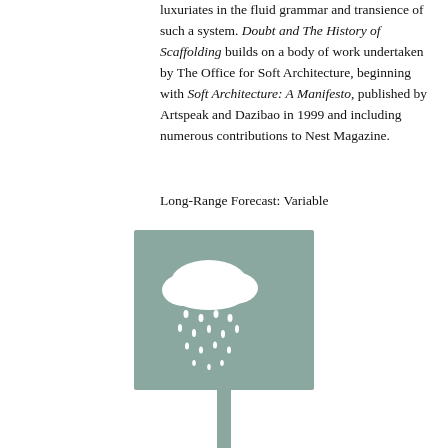luxuriates in the fluid grammar and transience of such a system. Doubt and The History of Scaffolding builds on a body of work undertaken by The Office for Soft Architecture, beginning with Soft Architecture: A Manifesto, published by Artspeak and Dazibao in 1999 and including numerous contributions to Nest Magazine.
Long-Range Forecast: Variable
[Figure (illustration): A book cover illustration showing a cloud with rain drops falling from it, rendered in white on a muted teal/grey background. The book is depicted on a stand or pole below it.]